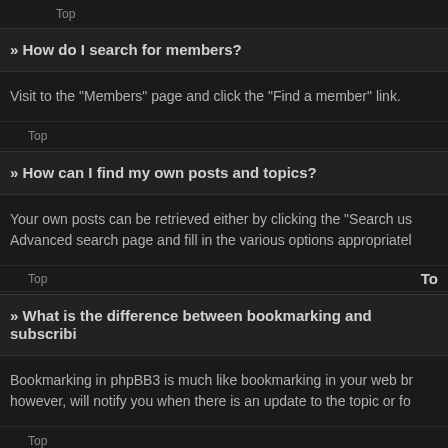Top
» How do I search for members?
Visit to the “Members” page and click the “Find a member” link.
Top
» How can I find my own posts and topics?
Your own posts can be retrieved either by clicking the “Search us Advanced search page and fill in the various options appropriatel
Top
To
» What is the difference between bookmarking and subscribi
Bookmarking in phpBB3 is much like bookmarking in your web br however, will notify you when there is an update to the topic or fo
Top